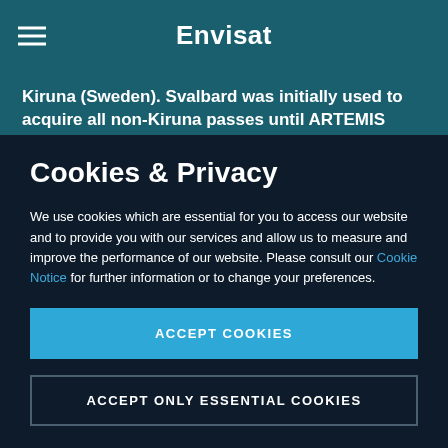Envisat
Kiruna (Sweden). Svalbard was initially used to acquire all non-Kiruna passes until ARTEMIS became operational for Envisat data transmission (2003). After
Cookies & Privacy
We use cookies which are essential for you to access our website and to provide you with our services and allow us to measure and improve the performance of our website. Please consult our Cookie Notice for further information or to change your preferences.
ACCEPT COOKIES
ACCEPT ONLY ESSENTIAL COOKIES